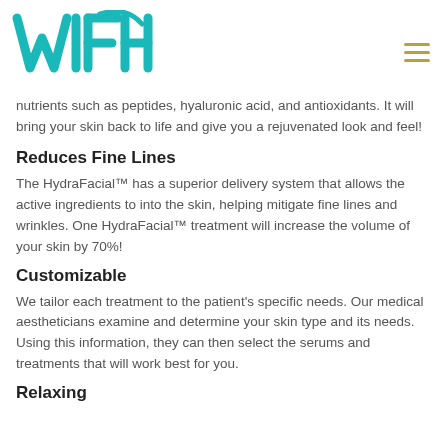WIFI [logo with hamburger menu]
nutrients such as peptides, hyaluronic acid, and antioxidants. It will bring your skin back to life and give you a rejuvenated look and feel!
Reduces Fine Lines
The HydraFacial™ has a superior delivery system that allows the active ingredients to into the skin, helping mitigate fine lines and wrinkles. One HydraFacial™ treatment will increase the volume of your skin by 70%!
Customizable
We tailor each treatment to the patient's specific needs. Our medical aestheticians examine and determine your skin type and its needs. Using this information, they can then select the serums and treatments that will work best for you.
Relaxing